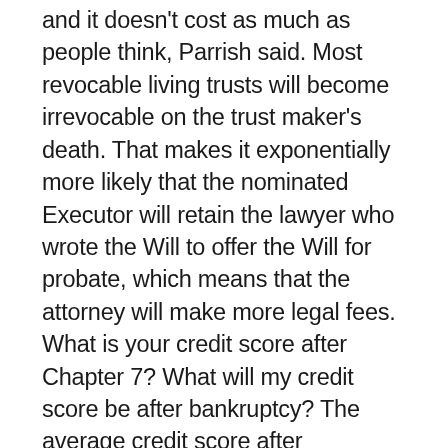and it doesn't cost as much as people think, Parrish said. Most revocable living trusts will become irrevocable on the trust maker's death. That makes it exponentially more likely that the nominated Executor will retain the lawyer who wrote the Will to offer the Will for probate, which means that the attorney will make more legal fees. What is your credit score after Chapter 7? What will my credit score be after bankruptcy? The average credit score after bankruptcy is about 530, based on VantageScore data. In general, bankruptcy can cause a person's credit score to drop between 150 points and 240 points. Durable Power of Attorney (POA) … If you become incapacitated and can't make decisions for yourself, a durable power of attorney can appoint someone to make decisions for you. FAMILY LAWFamily Law Featured. For example,